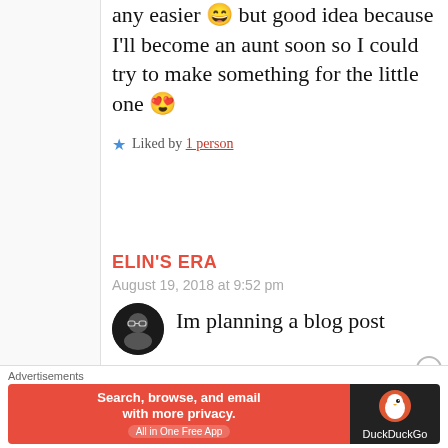any easier 😄 but good idea because I'll become an aunt soon so I could try to make something for the little one 😍
Liked by 1 person
ELIN'S ERA
August 19, 2018 at 9:52 pm
[Figure (photo): Round avatar of a person with glasses on dark background]
Im planning a blog post
[Figure (other): DuckDuckGo advertisement banner: Search, browse, and email with more privacy. All in One Free App.]